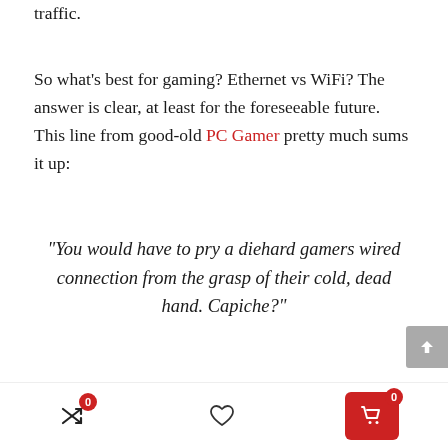traffic.
So what's best for gaming? Ethernet vs WiFi? The answer is clear, at least for the foreseeable future. This line from good-old PC Gamer pretty much sums it up:
“You would have to pry a diehard gamers wired connection from the grasp of their cold, dead hand. Capiche?”
Trusted Stores
0 | heart | 0 cart